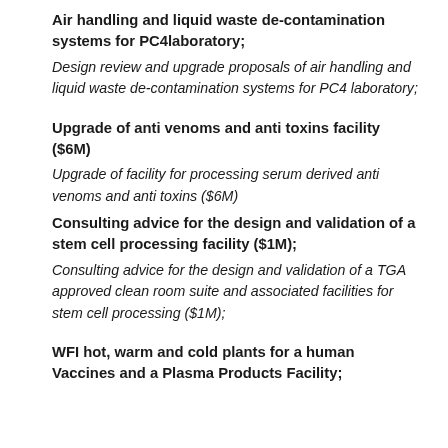Air handling and liquid waste de-contamination systems for PC4laboratory;
Design review and upgrade proposals of air handling and liquid waste de-contamination systems for PC4 laboratory;
Upgrade of anti venoms and anti toxins facility ($6M)
Upgrade of facility for processing serum derived anti venoms and anti toxins ($6M)
Consulting advice for the design and validation of a stem cell processing facility ($1M);
Consulting advice for the design and validation of a TGA approved clean room suite and associated facilities for stem cell processing ($1M);
WFI hot, warm and cold plants for a human Vaccines and a Plasma Products Facility;